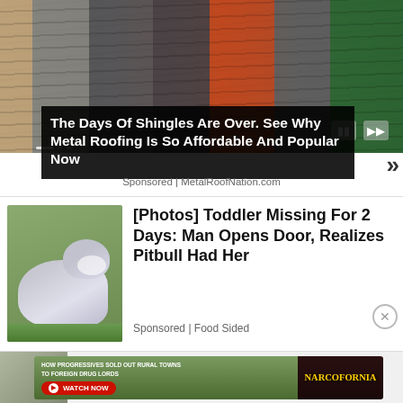[Figure (photo): Various metal roofing shingles in different colors displayed side by side, with play/pause controls overlaid]
The Days Of Shingles Are Over. See Why Metal Roofing Is So Affordable And Popular Now
Sponsored | MetalRoofNation.com
[Figure (photo): Gray and white pitbull dog standing on grass]
[Photos] Toddler Missing For 2 Days: Man Opens Door, Realizes Pitbull Had Her
Sponsored | Food Sided
[Figure (screenshot): Narcofornia video ad banner: HOW PROGRESSIVES SOLD OUT RURAL TOWNS TO FOREIGN DRUG LORDS - WATCH NOW]